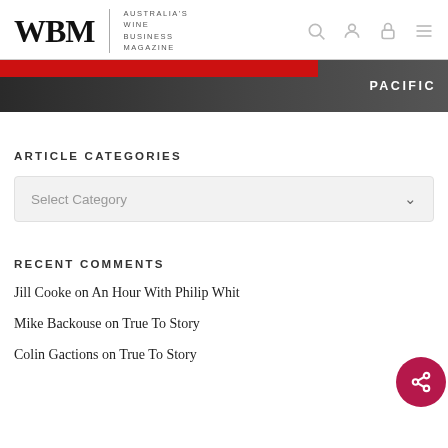WBM | AUSTRALIA'S WINE BUSINESS MAGAZINE
[Figure (illustration): WBM magazine banner with red stripe and PACIFIC label on dark background]
ARTICLE CATEGORIES
Select Category
RECENT COMMENTS
Jill Cooke on An Hour With Philip White
Mike Backouse on True To Story
Colin Gactions on True To Story